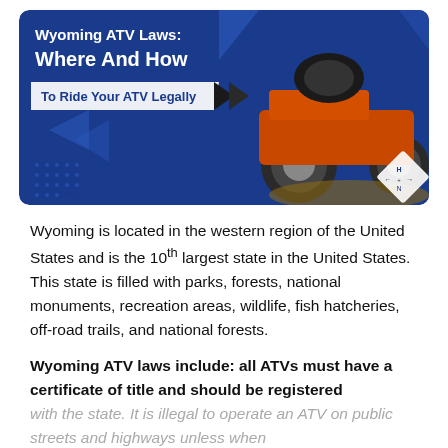[Figure (illustration): Banner image with blue background showing an ATV/off-road vehicle on dirt, with text 'Wyoming ATV Laws: Where And How To Ride Your ATV Legally' and a compass-like logo]
Wyoming is located in the western region of the United States and is the 10th largest state in the United States. This state is filled with parks, forests, national monuments, recreation areas, wildlife, fish hatcheries, off-road trails, and national forests.
Wyoming ATV laws include: all ATVs must have a certificate of title and should be registered with the state. It is illegal to operate an ATV on public streets and highways unless when